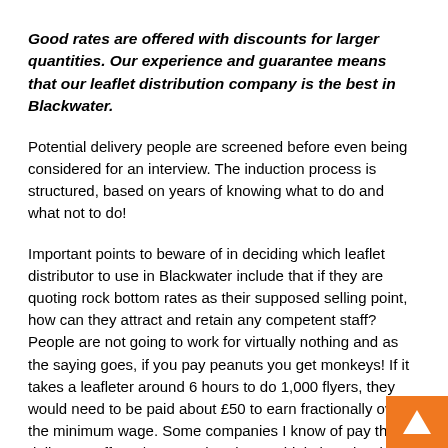Good rates are offered with discounts for larger quantities. Our experience and guarantee means that our leaflet distribution company is the best in Blackwater.
Potential delivery people are screened before even being considered for an interview. The induction process is structured, based on years of knowing what to do and what not to do!
Important points to beware of in deciding which leaflet distributor to use in Blackwater include that if they are quoting rock bottom rates as their supposed selling point, how can they attract and retain any competent staff? People are not going to work for virtually nothing and as the saying goes, if you pay peanuts you get monkeys! If it takes a leafleter around 6 hours to do 1,000 flyers, they would need to be paid about £50 to earn fractionally over the minimum wage. Some companies I know of pay their delivery staff £25/1,000. What do you think they do with most of the leaflets they are given,